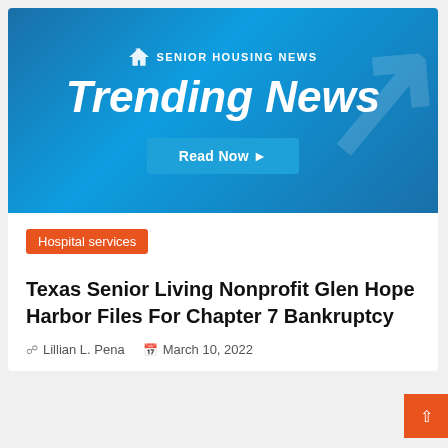[Figure (illustration): Senior Housing News branded banner with 'Trending News' title in white italic text on blue gradient background, with a 'Read Now' button]
Hospital services
Texas Senior Living Nonprofit Glen Hope Harbor Files For Chapter 7 Bankruptcy
Lillian L. Pena   March 10, 2022